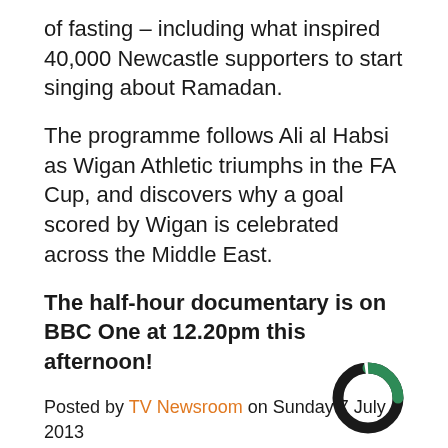of fasting – including what inspired 40,000 Newcastle supporters to start singing about Ramadan.
The programme follows Ali al Habsi as Wigan Athletic triumphs in the FA Cup, and discovers why a goal scored by Wigan is celebrated across the Middle East.
The half-hour documentary is on BBC One at 12.20pm this afternoon!
Posted by TV Newsroom on Sunday 7 July 2013
[Figure (logo): Circular logo with black and green segments on white background, bottom right corner]